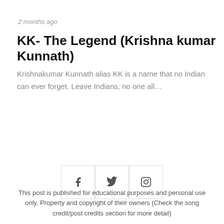2 months ago
KK- The Legend (Krishna kumar Kunnath)
Krishnakumar Kunnath alias KK is a name that no Indian can ever forget. Leave Indians, no one all…
[Figure (infographic): Social media icons: Facebook (f), Twitter (bird), Instagram (camera) in square bordered buttons]
This post is published for educational purposes and personal use only. Property and copyright of their owners (Check the song credit/post credits section for more detail)